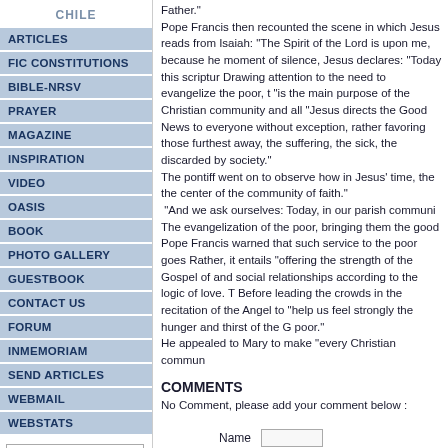CHILE
ARTICLES
FIC CONSTITUTIONS
BIBLE-NRSV
PRAYER
MAGAZINE
INSPIRATION
VIDEO
OASIS
BOOK
PHOTO GALLERY
GUESTBOOK
CONTACT US
FORUM
INMEMORIAM
SEND ARTICLES
WEBMAIL
WEBSTATS
Father." Pope Francis then recounted the scene in which Jesus reads from Isaiah: "The Spirit of the Lord is upon me, because he..." moment of silence, Jesus declares: "Today this scripture..." Drawing attention to the need to evangelize the poor, th... "is the main purpose of the Christian community and all..." "Jesus directs the Good News to everyone without exception, rather favoring those furthest away, the suffering, the sick, the discarded by society." The pontiff went on to observe how in Jesus' time, the... the center of the community of faith." "And we ask ourselves: Today, in our parish communi... The evangelization of the poor, bringing them the good... Pope Francis warned that such service to the poor goes... Rather, it entails "offering the strength of the Gospel of ... and social relationships according to the logic of love. T... Before leading the crowds in the recitation of the Angel... to "help us feel strongly the hunger and thirst of the G... poor." He appealed to Mary to make "every Christian commun...
COMMENTS
No Comment, please add your comment below :
Name
Email